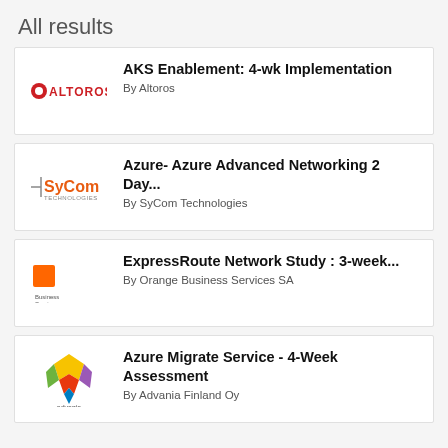All results
AKS Enablement: 4-wk Implementation
By Altoros
Azure- Azure Advanced Networking 2 Day...
By SyCom Technologies
ExpressRoute Network Study : 3-week...
By Orange Business Services SA
Azure Migrate Service - 4-Week Assessment
By Advania Finland Oy